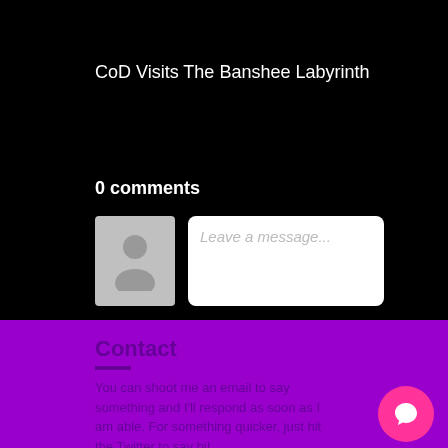CoD Visits The Banshee Labyrinth
0 comments
[Figure (illustration): User avatar placeholder icon (grey silhouette of a person)]
Leave a message...
Contact
You can shoot me an email to say something and I'll respond as soon as I am able. For something quicker, just hit the Twitter to say hi!